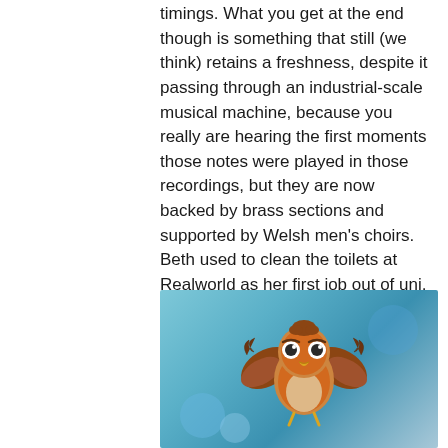timings. What you get at the end though is something that still (we think) retains a freshness, despite it passing through an industrial-scale musical machine, because you really are hearing the first moments those notes were played in those recordings, but they are now backed by brass sections and supported by Welsh men's choirs. Beth used to clean the toilets at Realworld as her first job out of uni, so it was quite a moment for her to be sitting in the control room there in the composer's chair.
[Figure (photo): A small orange/brown fluffy bird character with spread wings and expressive eyes, flying against a blurred teal/blue bokeh background.]